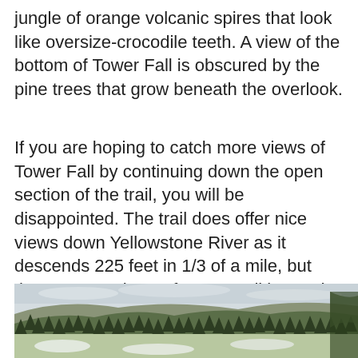jungle of orange volcanic spires that look like oversize-crocodile teeth. A view of the bottom of Tower Fall is obscured by the pine trees that grow beneath the overlook.
If you are hoping to catch more views of Tower Fall by continuing down the open section of the trail, you will be disappointed. The trail does offer nice views down Yellowstone River as it descends 225 feet in 1/3 of a mile, but there are no views of Tower Fall beyond the overlook.
[Figure (photo): Landscape photograph showing a forested hillside with pine trees and bare slopes under an overcast sky, with snow-dusted ground visible in the foreground.]